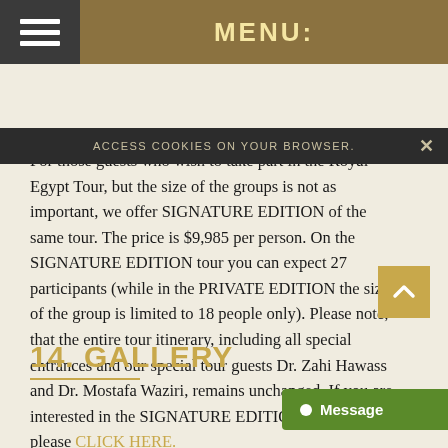MENU:
ACCESS COOKIES ON YOUR BROWSER.
For those guests who wish to take part in the Royal Egypt Tour, but the size of the groups is not as important, we offer SIGNATURE EDITION of the same tour. The price is $9,985 per person. On the SIGNATURE EDITION tour you can expect 27 participants (while in the PRIVATE EDITION the size of the group is limited to 18 people only). Please note, that the entire tour itinerary, including all special entrances and our special tour guests Dr. Zahi Hawass and Dr. Mostafa Waziri, remains unchanged. If you are interested in the SIGNATURE EDITION tour option, please CLICK HERE.
14. GALLERY